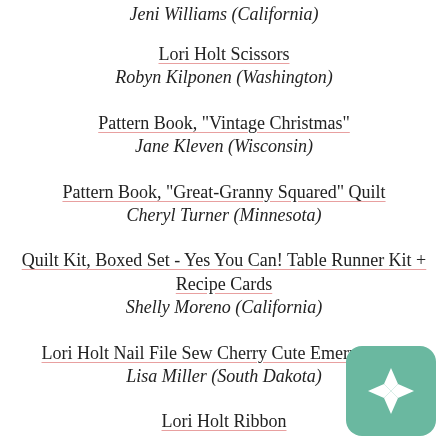Jeni Williams (California)
Lori Holt Scissors
Robyn Kilponen (Washington)
Pattern Book, "Vintage Christmas"
Jane Kleven (Wisconsin)
Pattern Book, "Great-Granny Squared" Quilt
Cheryl Turner (Minnesota)
Quilt Kit, Boxed Set - Yes You Can! Table Runner Kit + Recipe Cards
Shelly Moreno (California)
Lori Holt Nail File Sew Cherry Cute Emery Board
Lisa Miller (South Dakota)
Lori Holt Ribbon